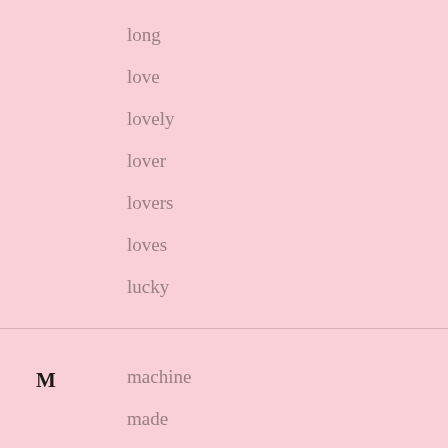long
love
lovely
lover
lovers
loves
lucky
M
machine
made
maid